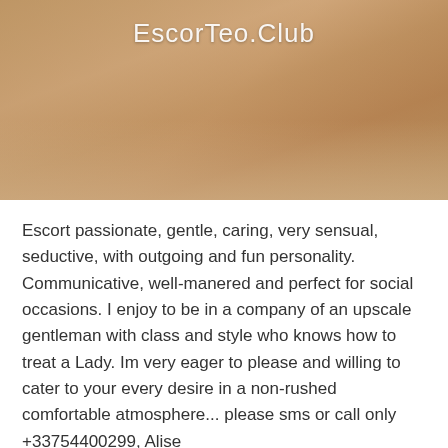[Figure (photo): Blonde woman in lingerie lying down, with 'EscorTeo.Club' watermark text overlaid in white]
Escort passionate, gentle, caring, very sensual, seductive, with outgoing and fun personality. Communicative, well-manered and perfect for social occasions. I enjoy to be in a company of an upscale gentleman with class and style who knows how to treat a Lady. Im very eager to please and willing to cater to your every desire in a non-rushed comfortable atmosphere... please sms or call only +33754400299, Alise
Location of a girl
| Country |  |
| --- | --- |
| Country | France |